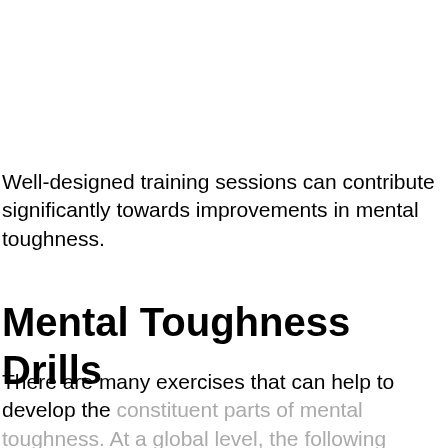Well-designed training sessions can contribute significantly towards improvements in mental toughness.
Mental Toughness Drills
There are many exercises that can help to develop the constituent parts of mental toughness. At a global level, the following practice ideas can be useful.